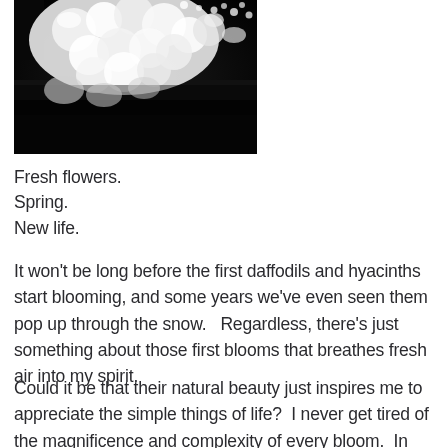[Figure (photo): Close-up photograph of white flowers (hydrangeas and baby's breath) against a dark background]
Fresh flowers.
Spring.
New life.
It won't be long before the first daffodils and hyacinths start blooming, and some years we've even seen them pop up through the snow.   Regardless, there's just something about those first blooms that breathes fresh air into my spirit.
Could it be that their natural beauty just inspires me to appreciate the simple things of life?  I never get tired of the magnificence and complexity of every bloom.  In my desire to simplify my life, I certainly don't want to leave behind the